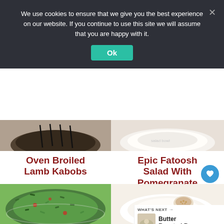We use cookies to ensure that we give you the best experience on our website. If you continue to use this site we will assume that you are happy with it.
Ok
[Figure (photo): Top-left food photo partially visible - dark bowl with food]
[Figure (photo): Top-right food photo partially visible - white bowl with creamy content]
Oven Broiled Lamb Kabobs
Epic Fatoosh Salad With Pomegranate
[Figure (photo): Bottom-left photo of green herb salad (tabbouleh) in a glass bowl]
[Figure (photo): Bottom-right photo of white creamy dish in bowl with seeds]
WHAT'S NEXT →
Butter Roasted Ba...